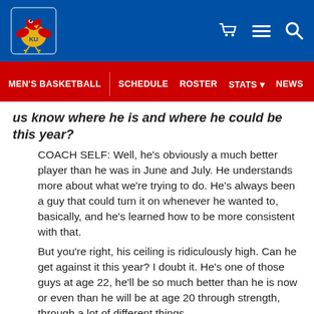KU Men's Basketball website header with logo and navigation icons
MEN'S BASKETBALL | SCHEDULE | ROSTER | STATS | NEWS
us know where he is and where he could be this year?
COACH SELF: Well, he's obviously a much better player than he was in June and July. He understands more about what we're trying to do. He's always been a guy that could turn it on whenever he wanted to, basically, and he's learned how to be more consistent with that.
But you're right, his ceiling is ridiculously high. Can he get against it this year? I doubt it. He's one of those guys at age 22, he'll be so much better than he is now or even than he will be at age 20 through strength, through a lot of different things.
But the most impressive thing about him, from a basketball standpoint, is he can do some things athletically that nobody else can. His first step and his second jump are as quick as I've ever been around. I think when he learns how to play to his athletic